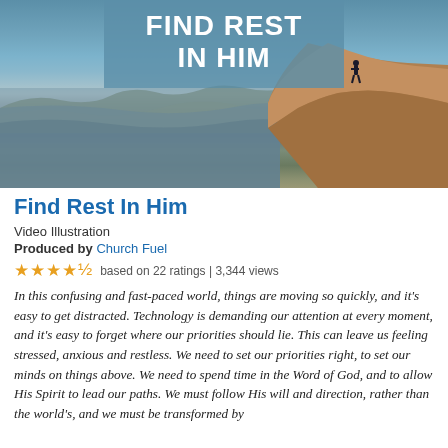[Figure (photo): Coastal cliff scene with a person standing on the edge overlooking the ocean. Overlay text reads 'FIND REST IN HIM' on a blue-grey banner at the top of the image.]
Find Rest In Him
Video Illustration
Produced by Church Fuel
★★★★½ based on 22 ratings | 3,344 views
In this confusing and fast-paced world, things are moving so quickly, and it's easy to get distracted. Technology is demanding our attention at every moment, and it's easy to forget where our priorities should lie. This can leave us feeling stressed, anxious and restless. We need to set our priorities right, to set our minds on things above. We need to spend time in the Word of God, and to allow His Spirit to lead our paths. We must follow His will and direction, rather than the world's, and we must be transformed by